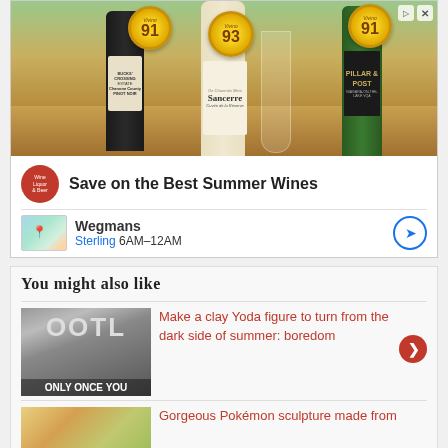[Figure (photo): Advertisement showing wine bottles (Bucks' Crossing, Sancerre, Pillar & Post) with rating medals showing 91, 93, 91 scores on a wooden table background]
Save on the Best Summer Wines
Wegmans Sterling 6AM–12AM
You might also like
[Figure (photo): Yoda meme image with text OOTL at top and ONLY ONCE YOU at bottom]
Make a clay Yoda figure to turn from the dark side of summer: boredom
Gorgeous Pokémon sculpture made from